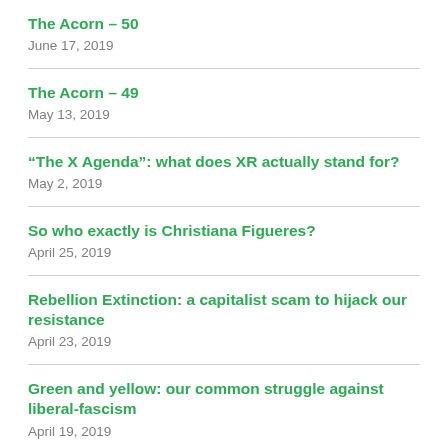The Acorn – 50
June 17, 2019
The Acorn – 49
May 13, 2019
“The X Agenda”: what does XR actually stand for?
May 2, 2019
So who exactly is Christiana Figueres?
April 25, 2019
Rebellion Extinction: a capitalist scam to hijack our resistance
April 23, 2019
Green and yellow: our common struggle against liberal-fascism
April 19, 2019